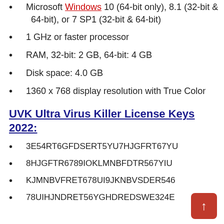Microsoft Windows 10 (64-bit only), 8.1 (32-bit & 64-bit), or 7 SP1 (32-bit & 64-bit)
1 GHz or faster processor
RAM, 32-bit: 2 GB, 64-bit: 4 GB
Disk space: 4.0 GB
1360 x 768 display resolution with True Color
UVK Ultra Virus Killer License Keys 2022:
3E54RT6GFDSERT5YU7HJGFRT67YU
8HJGFTR6789IOKLMNBFDTR567YIU
KJMNBVFRET678UI9JKNBVSDER546
78UIHJNDRET56YGHDREDSWE324E